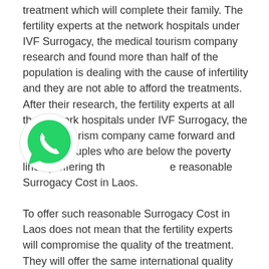treatment which will complete their family. The fertility experts at the network hospitals under IVF Surrogacy, the medical tourism company research and found more than half of the population is dealing with the cause of infertility and they are not able to afford the treatments. After their research, the fertility experts at all the network hospitals under IVF Surrogacy, the medical tourism company came forward and help the couples who are below the poverty line by offering the reasonable Surrogacy Cost in Laos.

To offer such reasonable Surrogacy Cost in Laos does not mean that the fertility experts will compromise the quality of the treatment. They will offer the same international quality treatment to all the people across the globe whosoever wish to have their baby through surrogacy procedure and they do not bias between the poor, payee or needy people. They offer the treatment without any discrimination because their motive is to spread happiness and allow each individual to enjoy their parenthood happily with their own baby and cost of the treatment will not stop them.
[Figure (illustration): WhatsApp phone icon — green circle with white telephone handset]